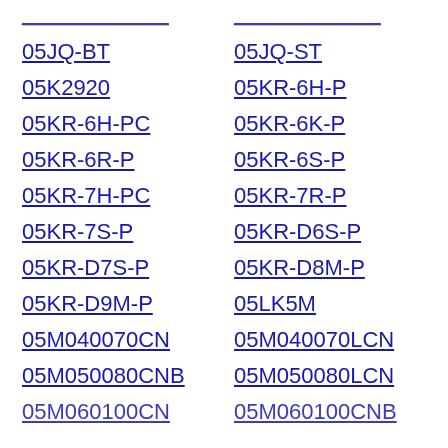05JQ-BT
05JQ-ST
05K2920
05KR-6H-P
05KR-6H-PC
05KR-6K-P
05KR-6R-P
05KR-6S-P
05KR-7H-PC
05KR-7R-P
05KR-7S-P
05KR-D6S-P
05KR-D7S-P
05KR-D8M-P
05KR-D9M-P
05LK5M
05M040070CN
05M040070LCN
05M050080CNB
05M050080LCN
05M060100CN
05M060100CNB